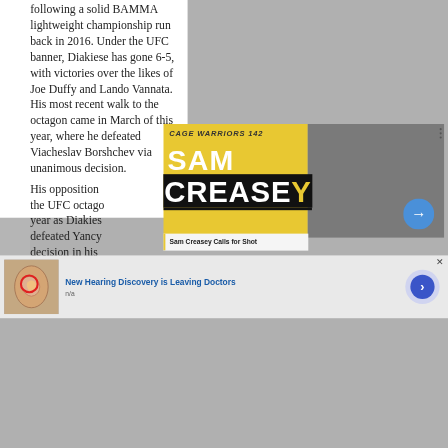following a solid BAMMA lightweight championship run back in 2016. Under the UFC banner, Diakiese has gone 6-5, with victories over the likes of Joe Duffy and Lando Vannata. His most recent walk to the octagon came in March of this year, where he defeated Viacheslav Borshchev via unanimous decision.
His opposition the UFC octago year as Diakies defeated Yancy decision in his
[Figure (screenshot): Video thumbnail overlay showing Cage Warriors 142 promotional graphic with 'SAM CREASEY' text in large bold letters on yellow and black background, with a fighter's face visible on the right side. A blue arrow/play button is visible. Caption reads 'Sam Creasey Calls for Shot'.]
[Figure (infographic): Advertisement banner: 'New Hearing Discovery is Leaving Doctors' with an anatomical ear image with a red circle, source label 'n/a', and a blue arrow button on the right.]